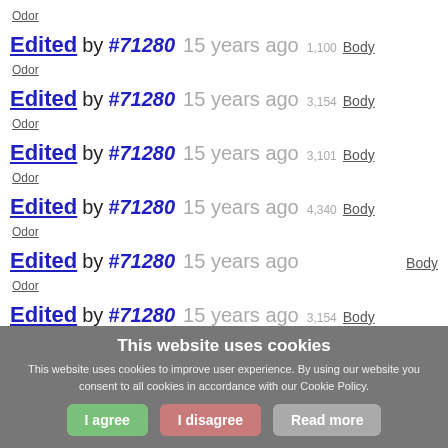Odor
Edited by #71280  15 years ago  1,100  Body
Odor
Edited by #71280  15 years ago  3,154  Body
Odor
Edited by #71280  15 years ago  3,101  Body
Odor
Edited by #71280  15 years ago  4,340  Body
Odor
Edited by #71280  15 years ago  Body
Odor
Edited by #71280  15 years ago  3,154  Body
This website uses cookies
This website uses cookies to improve user experience. By using our website you consent to all cookies in accordance with our Cookie Policy.